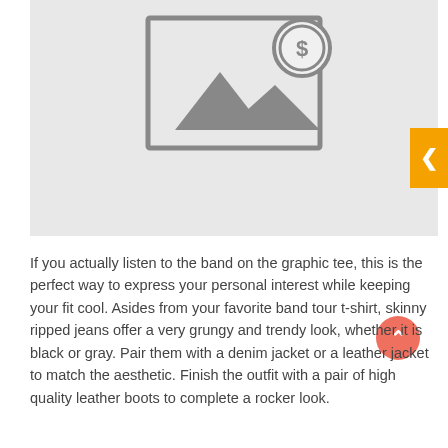[Figure (illustration): Image placeholder icon showing a landscape/photo symbol with a dollar sign coin badge overlay, on a light gray background.]
If you actually listen to the band on the graphic tee, this is the perfect way to express your personal interest while keeping your fit cool. Asides from your favorite band tour t-shirt, skinny ripped jeans offer a very grungy and trendy look, whether it is black or gray. Pair them with a denim jacket or a leather jacket to match the aesthetic. Finish the outfit with a pair of high quality leather boots to complete a rocker look.